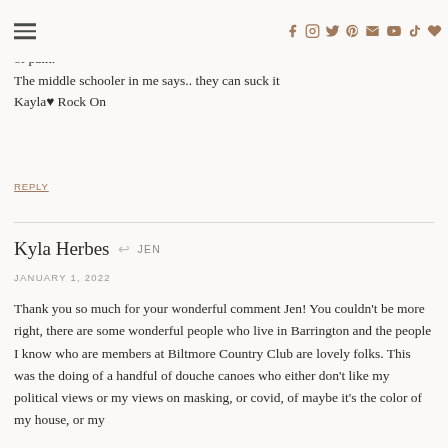Social icons navigation bar
Although this is painful to watch in your kids it is the antithesis of the human condition and that means to surpass it because you have had the experience of pain.
The middle schooler in me says.. they can suck it
Kayla♥ Rock On
REPLY
Kyla Herbes → JEN
JANUARY 1, 2022
Thank you so much for your wonderful comment Jen! You couldn't be more right, there are some wonderful people who live in Barrington and the people I know who are members at Biltmore Country Club are lovely folks. This was the doing of a handful of douche canoes who either don't like my political views or my views on masking, or covid, of maybe it's the color of my house, or my